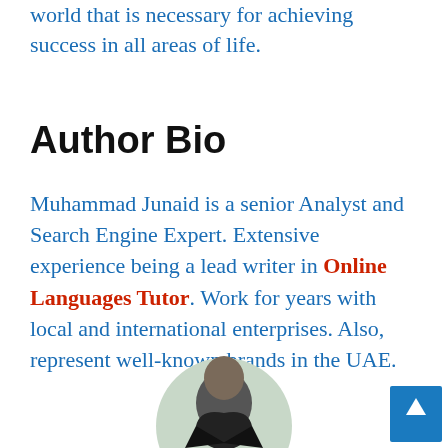world that is necessary for achieving success in all areas of life.
Author Bio
Muhammad Junaid is a senior Analyst and Search Engine Expert. Extensive experience being a lead writer in Online Languages Tutor. Work for years with local and international enterprises. Also, represent well-known brands in the UAE.
[Figure (photo): Circular cropped photo of a man in a dark jacket, with a blue scroll-to-top button in the bottom right corner.]